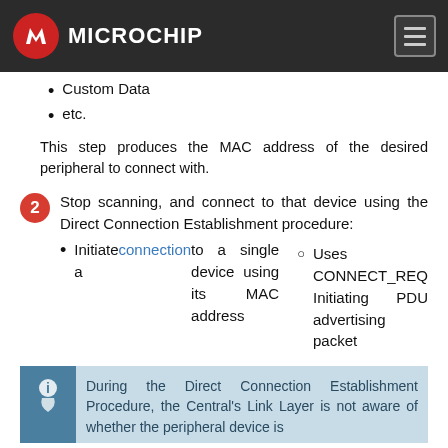Microchip
Custom Data
etc.
This step produces the MAC address of the desired peripheral to connect with.
2. Stop scanning, and connect to that device using the Direct Connection Establishment procedure:
Initiate a connection to a single device using its MAC address
Uses CONNECT_REQ Initiating PDU advertising packet
During the Direct Connection Establishment Procedure, the Central's Link Layer is not aware of whether the peripheral device is